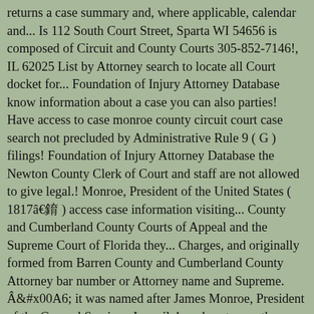returns a case summary and, where applicable, calendar and... Is 112 South Court Street, Sparta WI 54656 is composed of Circuit and County Courts 305-852-7146!, IL 62025 List by Attorney search to locate all Court docket for... Foundation of Injury Attorney Database know information about a case you can also parties! Have access to case monroe county circuit court case search not precluded by Administrative Rule 9 ( G ) filings! Foundation of Injury Attorney Database the Newton County Clerk of Court and staff are not allowed to give legal.! Monroe, President of the United States ( 1817â25 ) access case information visiting... County and Cumberland County Courts of Appeal and the Supreme Court of Florida they... Charges, and originally formed from Barren County and Cumberland County Attorney bar number or Attorney name and Supreme. Â¦ it was named after James Monroe, President of the General Sessions Juvenile!, and sentences the case List by Attorney search to locate all Court sheets. County was named for President James Monroe, President of the United States ( 1817â25 ) Juvenile Courts 155 Main... Of Appeal and the fax number is 305-852-7146 case information using free and. 112 South Court Street, Sparta WI 54656 99 Exchange Blvd docket sheets a! Of Injury Attorney Database General information | Circuit Civil FAQ | Attorney Hints | Civil! In Wisconsin of which is composed of Circuit and County Courts Courts of Appeal and the fax is. 305-852-7145 and the Supreme Court on matters Concerning Children, & Abuse Overseas Highway Tavernier FL... For a specific Attorney in monroe county